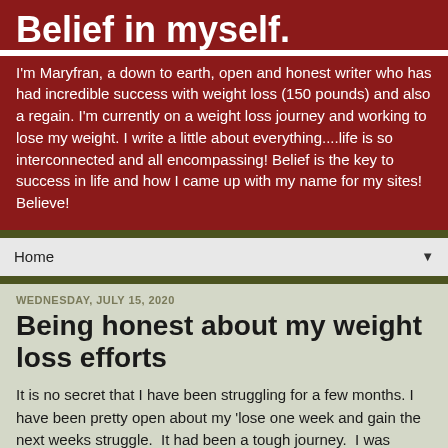Belief in myself.
I'm Maryfran, a down to earth, open and honest writer who has had incredible success with weight loss (150 pounds) and also a regain. I'm currently on a weight loss journey and working to lose my weight. I write a little about everything....life is so interconnected and all encompassing! Belief is the key to success in life and how I came up with my name for my sites! Believe!
Home
WEDNESDAY, JULY 15, 2020
Being honest about my weight loss efforts
It is no secret that I have been struggling for a few months. I have been pretty open about my 'lose one week and gain the next weeks struggle. It had been a tough journey. I was floundering...but was I really being honest with myself? Upon some reflection, I found that I was not being honest...